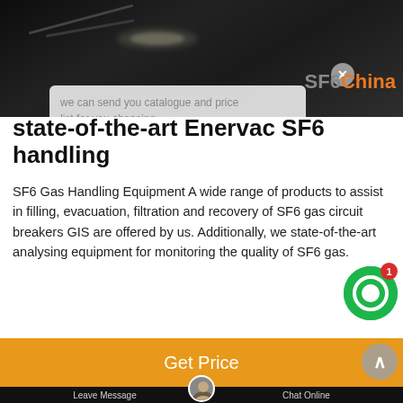[Figure (screenshot): Dark background image of industrial/laboratory equipment with light reflections, SF6China branding overlay, chat popup with agent message, and UI controls]
state-of-the-art Enervac SF6 handling
SF6 Gas Handling Equipment A wide range of products to assist in filling, evacuation, filtration and recovery of SF6 gas circuit breakers GIS are offered by us. Additionally, we state-of-the-art analysing equipment for monitoring the quality of SF6 gas.
Get Price
Leave Message
Chat Online